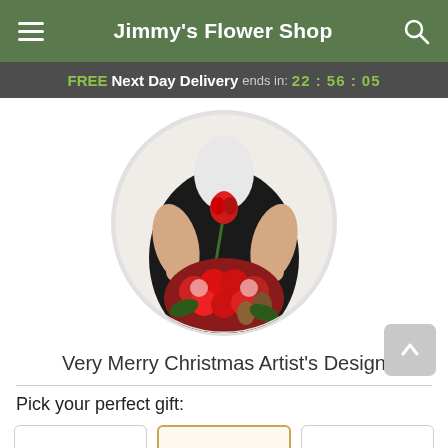Jimmy's Flower Shop
FREE Next Day Delivery ends in: 22 : 56 : 05
[Figure (photo): Person in black outfit holding a single red rose and a bouquet of red carnations with pine cones — shown in a circular cropped photo frame]
Very Merry Christmas Artist's Design
Pick your perfect gift: